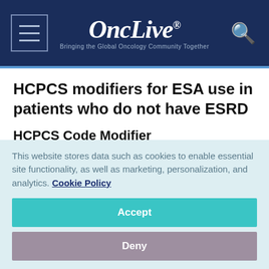OncLive — Bringing the Global Oncology Community Together
HCPCS modifiers for ESA use in patients who do not have ESRD
HCPCS Code Modifier
Description
EA
This website stores data such as cookies to enable essential site functionality, as well as marketing, personalization, and analytics. Cookie Policy
Accept
Deny